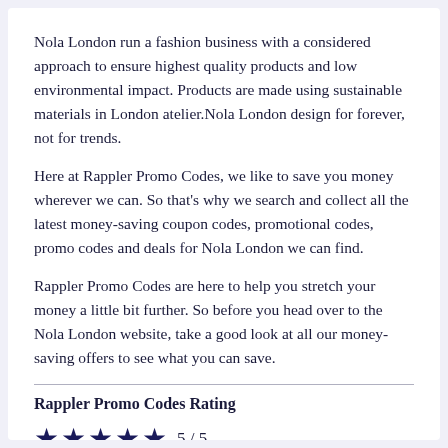Nola London run a fashion business with a considered approach to ensure highest quality products and low environmental impact. Products are made using sustainable materials in London atelier.Nola London design for forever, not for trends.
Here at Rappler Promo Codes, we like to save you money wherever we can. So that's why we search and collect all the latest money-saving coupon codes, promotional codes, promo codes and deals for Nola London we can find.
Rappler Promo Codes are here to help you stretch your money a little bit further. So before you head over to the Nola London website, take a good look at all our money-saving offers to see what you can save.
Rappler Promo Codes Rating
★★★★★  5 / 5